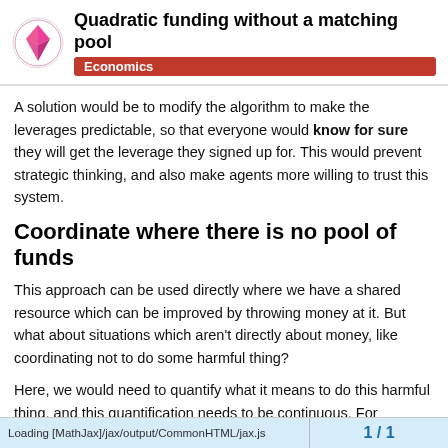Quadratic funding without a matching pool | Economics
A solution would be to modify the algorithm to make the leverages predictable, so that everyone would know for sure they will get the leverage they signed up for. This would prevent strategic thinking, and also make agents more willing to trust this system.
Coordinate where there is no pool of funds
This approach can be used directly where we have a shared resource which can be improved by throwing money at it. But what about situations which aren't directly about money, like coordinating not to do some harmful thing?
Here, we would need to quantify what it means to do this harmful thing, and this quantification needs to be continuous. For example when countries coordinate to prevent climate change, we could count how much CO2 each is emitting - this number quantifies harm, in a continuous w...
Loading [MathJax]/jax/output/CommonHTML/jax.js | 1 / 1